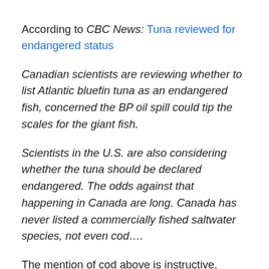According to CBC News: Tuna reviewed for endangered status
Canadian scientists are reviewing whether to list Atlantic bluefin tuna as an endangered fish, concerned the BP oil spill could tip the scales for the giant fish.
Scientists in the U.S. are also considering whether the tuna should be declared endangered. The odds against that happening in Canada are long. Canada has never listed a commercially fished saltwater species, not even cod….
The mention of cod above is instructive. Having lived on Canada's east coast for nearly a decade, I've seen the cultural and economic impact of the collapse of the cod fishery there. Many people know about the collapse, which